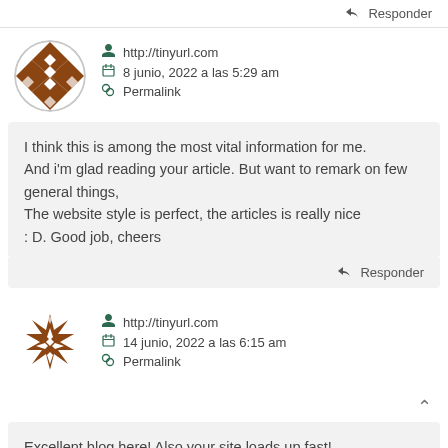Responder
http://tinyurl.com
8 junio, 2022 a las 5:29 am
Permalink
I think this is among the most vital information for me. And i'm glad reading your article. But want to remark on few general things,
The website style is perfect, the articles is really nice
: D. Good job, cheers
Responder
http://tinyurl.com
14 junio, 2022 a las 6:15 am
Permalink
Excellent blog here! Also your site loads up fast!